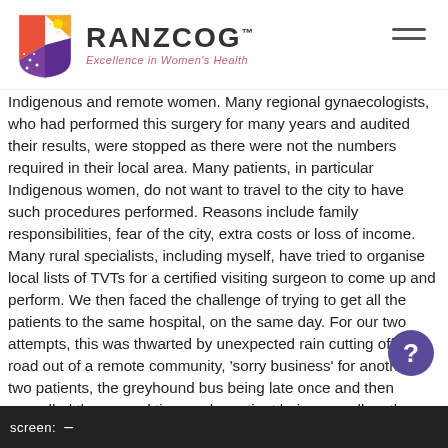RANZCOG™ Excellence in Women's Health
Indigenous and remote women. Many regional gynaecologists, who had performed this surgery for many years and audited their results, were stopped as there were not the numbers required in their local area. Many patients, in particular Indigenous women, do not want to travel to the city to have such procedures performed. Reasons include family responsibilities, fear of the city, extra costs or loss of income. Many rural specialists, including myself, have tried to organise local lists of TVTs for a certified visiting surgeon to come up and perform. We then faced the challenge of trying to get all the patients to the same hospital, on the same day. For our two attempts, this was thwarted by unexpected rain cutting off the road out of a remote community, 'sorry business' for another two patients, the greyhound bus being late once and then cancelled the second time and a patient being unwell on the day.
It is common for us in rural areas to have large 'did not' rates for our outpatients and theatre lists because of the remote travel difficulties and the cultural needs of our